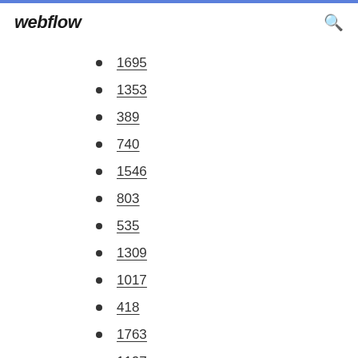webflow
1695
1353
389
740
1546
803
535
1309
1017
418
1763
1197